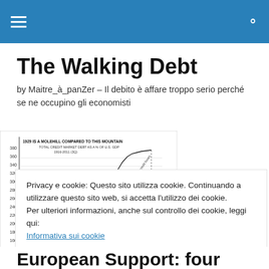The Walking Debt — navigation bar
The Walking Debt
by Maitre_à_panZer – Il debito è affare troppo serio perché se ne occupino gli economisti
[Figure (continuous-plot): Line chart titled '1929 IS A MOLEHILL COMPARED TO THIS MOUNTAIN — TOTAL CREDIT MARKET DEBT AS A % OF U.S. GDP 1916-2011 (3Q)' showing a dramatic rise in total credit market debt as a percentage of US GDP, with a label 'Real-Money Dow peak' and annotation '1980-2000's credit boom', showing 1929 as a smaller peak compared to the much higher 2011 values around 360%.]
Privacy e cookie: Questo sito utilizza cookie. Continuando a utilizzare questo sito web, si accetta l'utilizzo dei cookie.
Per ulteriori informazioni, anche sul controllo dei cookie, leggi qui:
Informativa sui cookie
Chiudi e accetta
European Support: four